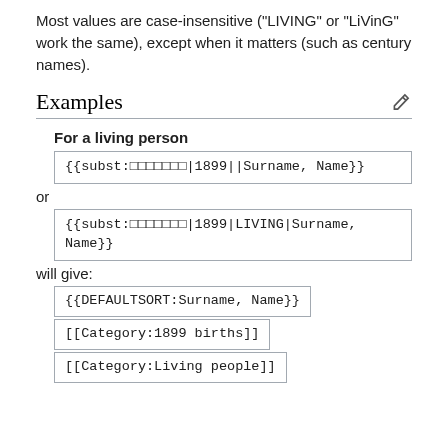Most values are case-insensitive ("LIVING" or "LiVinG" work the same), except when it matters (such as century names).
Examples
For a living person
{{subst:□□□□□□□|1899||Surname, Name}}
or
{{subst:□□□□□□□|1899|LIVING|Surname,
Name}}
will give:
{{DEFAULTSORT:Surname, Name}}
[[Category:1899 births]]
[[Category:Living people]]